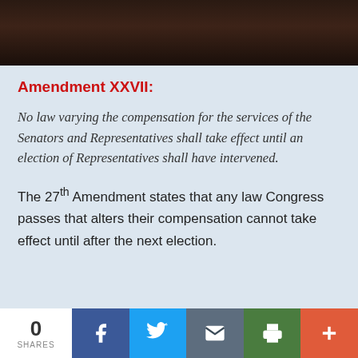[Figure (photo): Dark background photo bar at top of page]
Amendment XXVII:
No law varying the compensation for the services of the Senators and Representatives shall take effect until an election of Representatives shall have intervened.
The 27th Amendment states that any law Congress passes that alters their compensation cannot take effect until after the next election.
0 SHARES | Facebook | Twitter | Email | Print | More